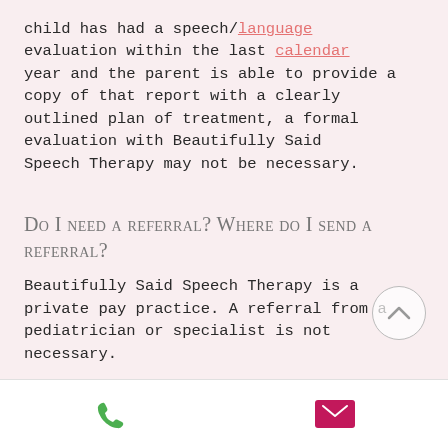child has had a speech/language evaluation within the last calendar year and the parent is able to provide a copy of that report with a clearly outlined plan of treatment, a formal evaluation with Beautifully Said Speech Therapy may not be necessary.
Do I need a referral? Where do I send a referral?
Beautifully Said Speech Therapy is a private pay practice. A referral from a pediatrician or specialist is not necessary.
Can I drop my child off and come back when...
Phone | Email